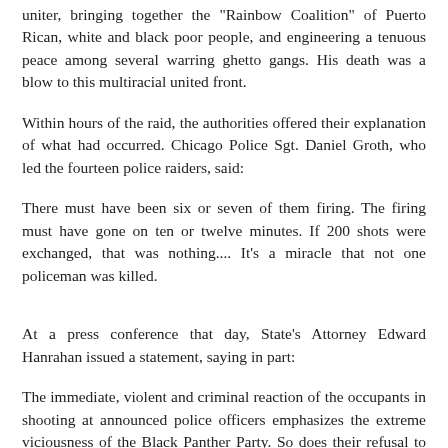uniter, bringing together the "Rainbow Coalition" of Puerto Rican, white and black poor people, and engineering a tenuous peace among several warring ghetto gangs. His death was a blow to this multiracial united front.
Within hours of the raid, the authorities offered their explanation of what had occurred. Chicago Police Sgt. Daniel Groth, who led the fourteen police raiders, said:
There must have been six or seven of them firing. The firing must have gone on ten or twelve minutes. If 200 shots were exchanged, that was nothing.... It's a miracle that not one policeman was killed.
At a press conference that day, State's Attorney Edward Hanrahan issued a statement, saying in part:
The immediate, violent and criminal reaction of the occupants in shooting at announced police officers emphasizes the extreme viciousness of the Black Panther Party. So does their refusal to cease firing at police officers